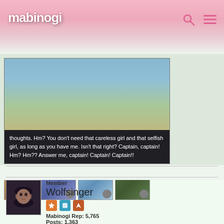mabinogi
[Figure (screenshot): Game screenshot showing dialog box with text: 'thoughts. Hm? You don't need that careless girl and that selfish girl, as long as you have me. Isn't that right? Captain, captain! Hm? Hm?? Answer me, captain! Captain! Captain!!' with thumbnail images below showing anime-style characters]
Member
Wolfsinger
Mabinogi Rep: 5,765
Posts: 1,363
SEPTEMBER 29, 2019
See, this is why I don't show any special favor/go places with any of them and treat them all the exact same aka working dogs under my heels that must behave or will be